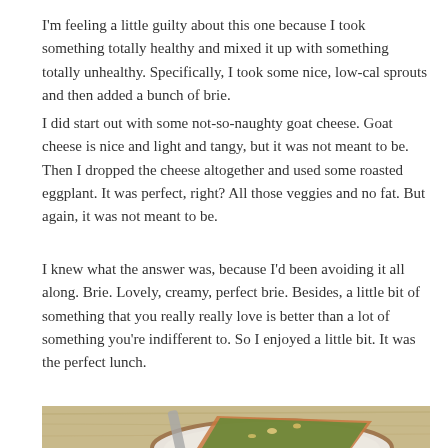I'm feeling a little guilty about this one because I took something totally healthy and mixed it up with something totally unhealthy. Specifically, I took some nice, low-cal sprouts and then added a bunch of brie.
I did start out with some not-so-naughty goat cheese. Goat cheese is nice and light and tangy, but it was not meant to be. Then I dropped the cheese altogether and used some roasted eggplant. It was perfect, right? All those veggies and no fat. But again, it was not meant to be.
I knew what the answer was, because I’d been avoiding it all along. Brie. Lovely, creamy, perfect brie. Besides, a little bit of something that you really really love is better than a lot of something you’re indifferent to. So I enjoyed a little bit. It was the perfect lunch.
[Figure (photo): Overhead photo of a white plate with a brown rim on a wooden surface, containing a slice of toast topped with green spread and scattered nuts/seeds, with a butter knife resting on the plate.]